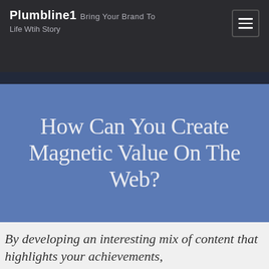Plumbline1 Bring Your Brand To Life Wtih Story
How Can You Create Magnetic Value On The Web?
By developing an interesting mix of content that highlights your achievements,